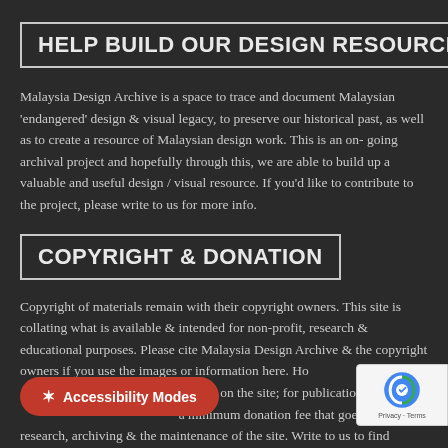HELP BUILD OUR DESIGN RESOURCE
Malaysia Design Archive is a space to trace and document Malaysian 'endangered' design & visual legacy, to preserve our historical past, as well as to create a resource of Malaysian design work. This is an on-going archival project and hopefully through this, we are able to build up a valuable and useful design / visual resource. If you'd like to contribute to the project, please write to us for more info.
COPYRIGHT & DONATION
Copyright of materials remain with their copyright owners. This site is collating what is available & intended for non-profit, research & educational purposes. Please cite Malaysia Design Archive & the copyright owners if you use the images or information here. Ho... images on the site; for publication o... a minimum donation fee that goes research, archiving & the maintenance of the site. Write to us to find